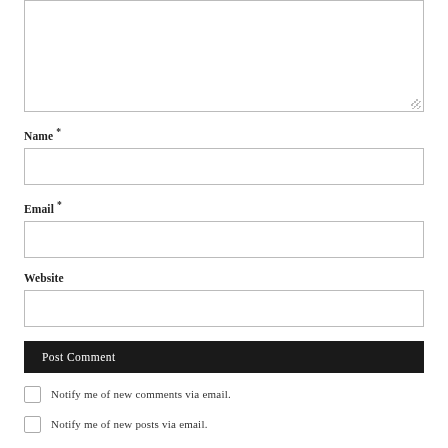[textarea — comment input box]
Name *
[name input field]
Email *
[email input field]
Website
[website input field]
Post Comment
Notify me of new comments via email.
Notify me of new posts via email.